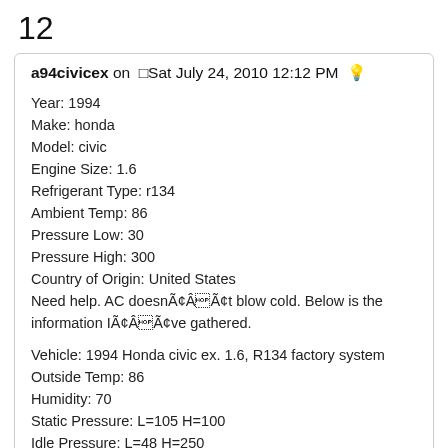12
a94civicex on  Sat July 24, 2010 12:12 PM  💡
Year: 1994
Make: honda
Model: civic
Engine Size: 1.6
Refrigerant Type: r134
Ambient Temp: 86
Pressure Low: 30
Pressure High: 300
Country of Origin: United States
Need help. AC doesnã¢ÂÃ¢t blow cold. Below is the information Iã¢ÂÃ¢ve gathered.

Vehicle: 1994 Honda civic ex. 1.6, R134 factory system
Outside Temp: 86
Humidity: 70
Static Pressure: L=105 H=100
Idle Pressure: L=48 H=250
Pressure at 1500 RPM after 10 minutes: L=30 -35 H= 300
Ã¢ÂÃ¢ 320: temp at vent 64